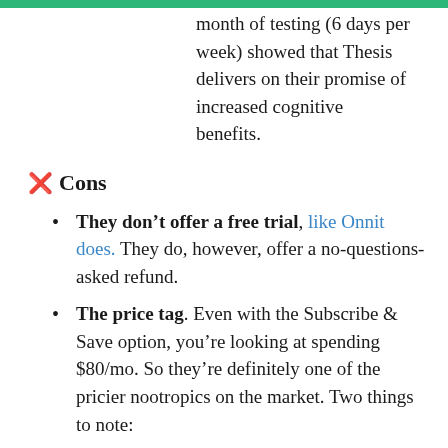month of testing (6 days per week) showed that Thesis delivers on their promise of increased cognitive benefits.
❌ Cons
They don't offer a free trial, like Onnit does. They do, however, offer a no-questions-asked refund.
The price tag. Even with the Subscribe & Save option, you're looking at spending $80/mo. So they're definitely one of the pricier nootropics on the market. Two things to note:
Use code ZENMASTER for 10% off. It's the same % discount as you'll find